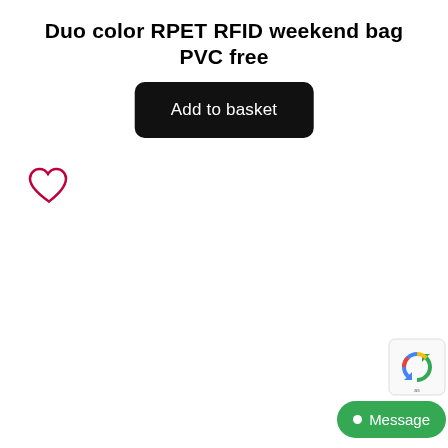Duo color RPET RFID weekend bag PVC free
[Figure (other): Black rounded rectangle button with white text reading 'Add to basket']
[Figure (other): Heart/favorite icon outline in dark red/crimson color]
[Figure (other): reCAPTCHA badge widget in bottom right corner]
[Figure (other): Green 'Message' chat button with white dot icon in bottom right corner]